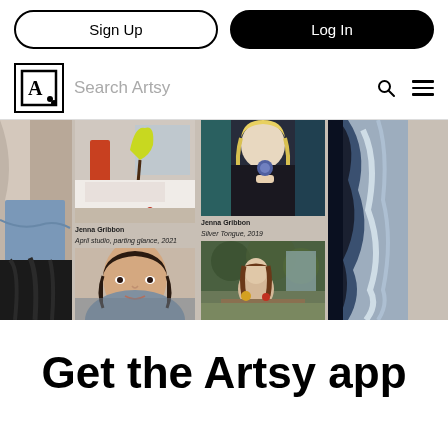Sign Up | Log In
Search Artsy
[Figure (screenshot): Artsy website gallery grid showing multiple paintings by Jenna Gribbon. Includes artworks: 'April studio, parting glance, 2021' and 'Silver Tongue, 2019'. Multiple portrait and figurative paintings arranged in a masonry grid layout.]
Get the Artsy app